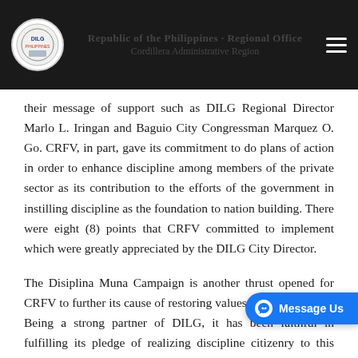[Government page header with logo, navigation text, and hamburger menu]
their message of support such as DILG Regional Director Marlo L. Iringan and Baguio City Congressman Marquez O. Go. CRFV, in part, gave its commitment to do plans of action in order to enhance discipline among members of the private sector as its contribution to the efforts of the government in instilling discipline as the foundation to nation building. There were eight (8) points that CRFV committed to implement which were greatly appreciated by the DILG City Director.
The Disiplina Muna Campaign is another thrust opened for CRFV to further its cause of restoring values among Filipinos. Being a strong partner of DILG, it has been faithful in fulfilling its pledge of realizing discipline citizenry to this date. Since its participation in the national grand launching in Manila, its officers and members have joined several clean-up drives at major